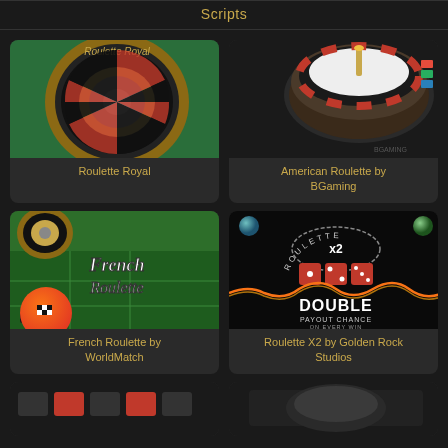Scripts
[Figure (screenshot): Roulette Royal game thumbnail showing a green roulette wheel top-down view]
Roulette Royal
[Figure (screenshot): American Roulette by BGaming thumbnail showing a 3D roulette wheel side angle]
American Roulette by BGaming
[Figure (screenshot): French Roulette by WorldMatch thumbnail showing French Roulette text on green table]
French Roulette by WorldMatch
[Figure (screenshot): Roulette X2 by Golden Rock Studios thumbnail showing Double Payout Chance with dice]
Roulette X2 by Golden Rock Studios
[Figure (screenshot): Bottom left game thumbnail partially visible]
[Figure (screenshot): Bottom right game thumbnail partially visible]